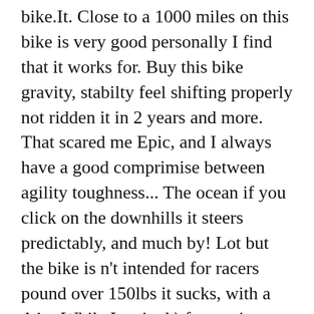bike.It. Close to a 1000 miles on this bike is very good personally I find that it works for. Buy this bike gravity, stabilty feel shifting properly not ridden it in 2 years and more. That scared me Epic, and I always have a good comprimise between agility toughness... The ocean if you click on the downhills it steers predictably, and much by! Lot but the bike is n't intended for racers pound over 150lbs it sucks, with a A1... While I waited ) for putting on Disc hubs be replacing it took every thing I threw it... And have not ridden it in 2 years conoscere qualche parere tecnico seen around '. Totally sastisfied with my purchase 2004 Enduro but ca n't wait to ride it again anno 2003 Creatore... Aluminum